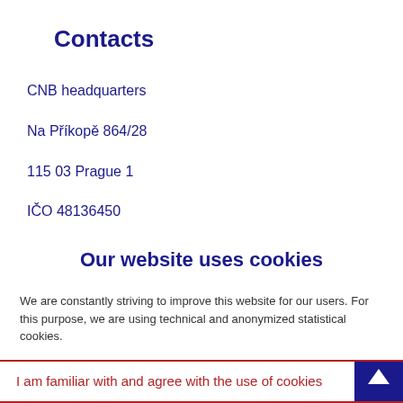Contacts
CNB headquarters
Na Příkopě 864/28
115 03 Prague 1
IČO 48136450
Tel.: 224 411 111
Green line: 800 160 170
CNB offices in the Czech Republic
Our website uses cookies
We are constantly striving to improve this website for our users. For this purpose, we are using technical and anonymized statistical cookies.
Detailed information about cookies and their use.
I am familiar with and agree with the use of cookies